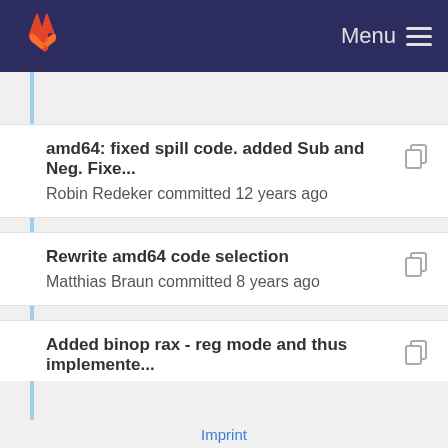Menu
amd64: fixed spill code. added Sub and Neg. Fixe...
Robin Redeker committed 12 years ago
Rewrite amd64 code selection
Matthias Braun committed 8 years ago
Added binop rax - reg mode and thus implemente...
Imprint